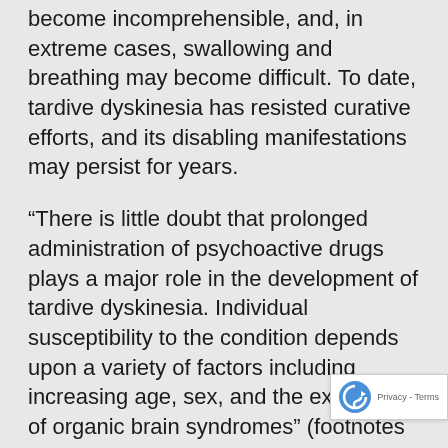become incomprehensible, and, in extreme cases, swallowing and breathing may become difficult. To date, tardive dyskinesia has resisted curative efforts, and its disabling manifestations may persist for years.
“There is little doubt that prolonged administration of psychoactive drugs plays a major role in the development of tardive dyskinesia. Individual susceptibility to the condition depends upon a variety of factors including increasing age, sex, and the existence of organic brain syndromes” (footnotes omitted). Plotkin, supra at 475-477. Commentators and courts have found that antipsychotic drugs are high-risk treatment. [Note 12] “Tardive dyskinesia is the most important complication of long-term neuroleptic use. What was initially thought to be a rare clinical curiosity, has become a significant